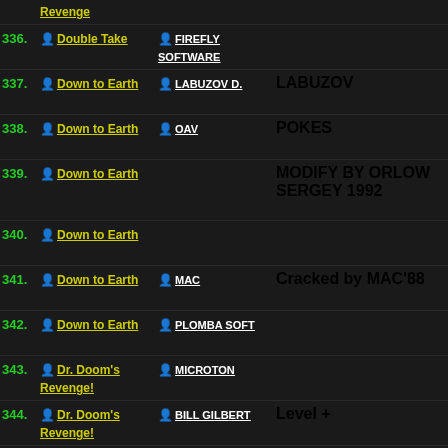336. Double Take - FIREFLY SOFTWARE
337. Down to Earth - LABUZOV D. - LABUZOV
338. Down to Earth - OAV - POKES
339. Down to Earth - MODIFY BY ORLOW SERGEY 1992
340. Down to Earth
341. Down to Earth - MAC - Cracked by MAC'88
342. Down to Earth - PLOMBA SOFT
343. Dr. Doom's Revenge! - MICROTON
344. Dr. Doom's Revenge! - BILL GILBERT - Level +
345. Dr. Doom's Revenge! - BILL GILBERT